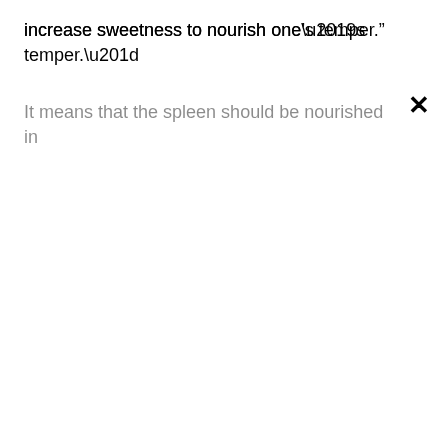increase sweetness to nourish one’s temper.”
It means that the spleen should be nourished in